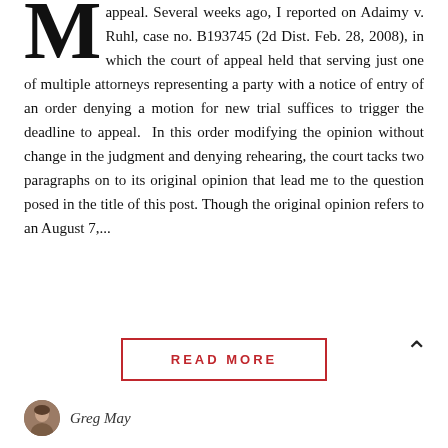appeal. Several weeks ago, I reported on Adaimy v. Ruhl, case no. B193745 (2d Dist. Feb. 28, 2008), in which the court of appeal held that serving just one of multiple attorneys representing a party with a notice of entry of an order denying a motion for new trial suffices to trigger the deadline to appeal. In this order modifying the opinion without change in the judgment and denying rehearing, the court tacks two paragraphs on to its original opinion that lead me to the question posed in the title of this post. Though the original opinion refers to an August 7,...
READ MORE
Greg May